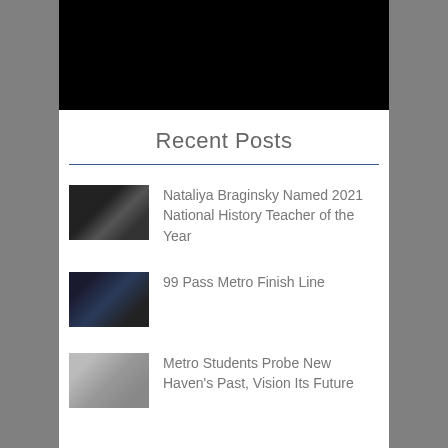[Figure (photo): Black rectangular image at top of page]
Recent Posts
Nataliya Braginsky Named 2021 National History Teacher of the Year
99 Pass Metro Finish Line
Metro Students Probe New Haven's Past, Vision Its Future